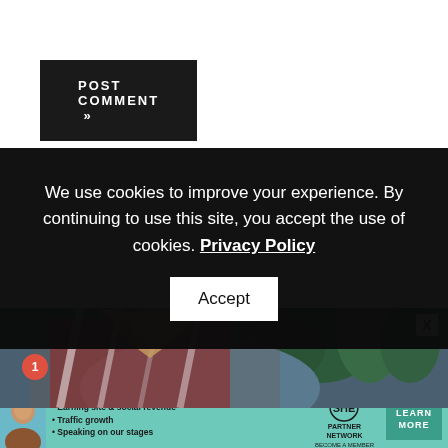POST COMMENT »
We use cookies to improve your experience. By continuing to use this site, you accept the use of cookies. Privacy Policy Accept
[Figure (photo): Woman in colorful patterned blouse outdoors with trees in background]
[Figure (infographic): SHE Partner Network advertisement banner with teal background, portrait of woman, bullet points: Earning site & social revenue, Traffic growth, Speaking on our stages, SHE logo, LEARN MORE button]